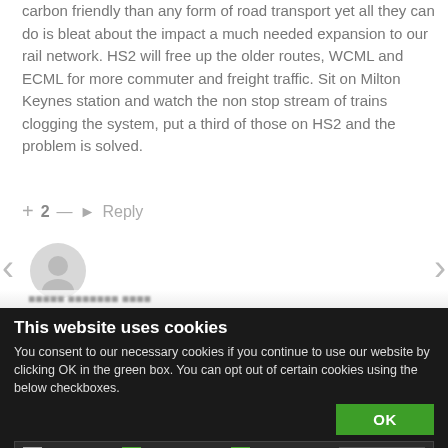carbon friendly than any form of road transport yet all they can do is bleat about the impact a much needed expansion to our rail network. HS2 will free up the older routes, WCML and ECML for more commuter and freight traffic. Sit on Milton Keynes station and watch the non stop stream of trains clogging the system, put a third of those on HS2 and the problem is solved.
+ 2 — ▶ Reply
[Figure (other): User avatar icon (gray silhouette) with left and right navigation arrows]
This website uses cookies
You consent to our necessary cookies if you continue to use our website by clicking OK in the green box. You can opt out of certain cookies using the below checkboxes.
OK
Necessary   Preferences   Statistics   Marketing   Show details